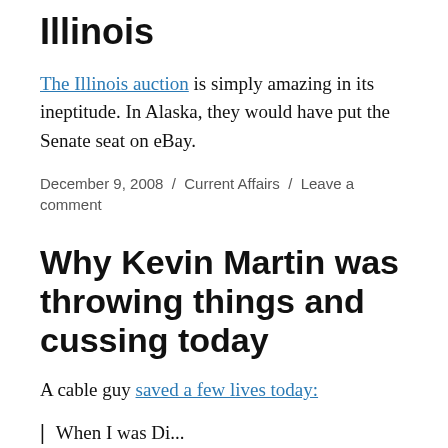Illinois
The Illinois auction is simply amazing in its ineptitude. In Alaska, they would have put the Senate seat on eBay.
December 9, 2008 / Current Affairs / Leave a comment
Why Kevin Martin was throwing things and cussing today
A cable guy saved a few lives today: